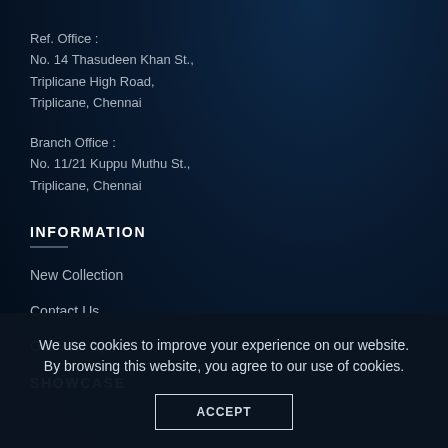Ref. Office :
No. 14 Thasudeen Khan St.,
Triplicane High Road,
Triplicane, Chennai
Branch Office :
No. 11/21 Kuppu Muthu St.,
Triplicane, Chennai
INFORMATION
New Collection
Contact Us
Our Sitemap
SHOWCASE
We use cookies to improve your experience on our website. By browsing this website, you agree to our use of cookies.
ACCEPT